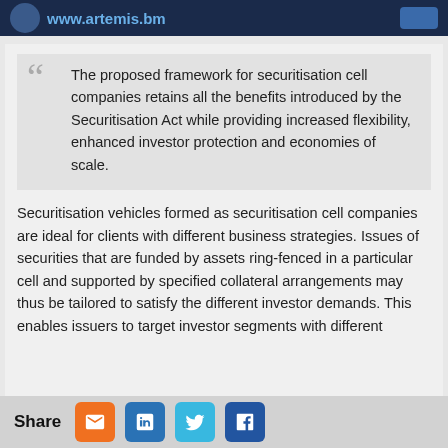www.artemis.bm
The proposed framework for securitisation cell companies retains all the benefits introduced by the Securitisation Act while providing increased flexibility, enhanced investor protection and economies of scale.
Securitisation vehicles formed as securitisation cell companies are ideal for clients with different business strategies. Issues of securities that are funded by assets ring-fenced in a particular cell and supported by specified collateral arrangements may thus be tailored to satisfy the different investor demands. This enables issuers to target investor segments with different
Share